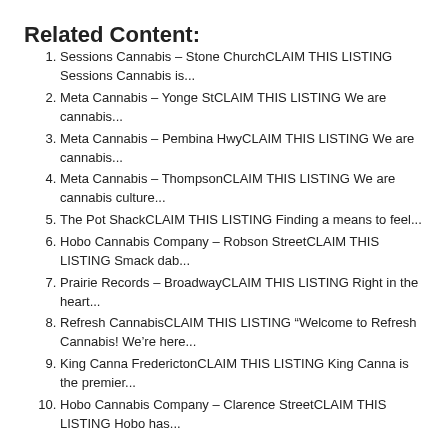Related Content:
Sessions Cannabis – Stone ChurchCLAIM THIS LISTING Sessions Cannabis is...
Meta Cannabis – Yonge StCLAIM THIS LISTING We are cannabis...
Meta Cannabis – Pembina HwyCLAIM THIS LISTING We are cannabis...
Meta Cannabis – ThompsonCLAIM THIS LISTING We are cannabis culture...
The Pot ShackCLAIM THIS LISTING Finding a means to feel...
Hobo Cannabis Company – Robson StreetCLAIM THIS LISTING Smack dab...
Prairie Records – BroadwayCLAIM THIS LISTING Right in the heart...
Refresh CannabisCLAIM THIS LISTING “Welcome to Refresh Cannabis! We’re here...
King Canna FrederictonCLAIM THIS LISTING King Canna is the premier...
Hobo Cannabis Company – Clarence StreetCLAIM THIS LISTING Hobo has...